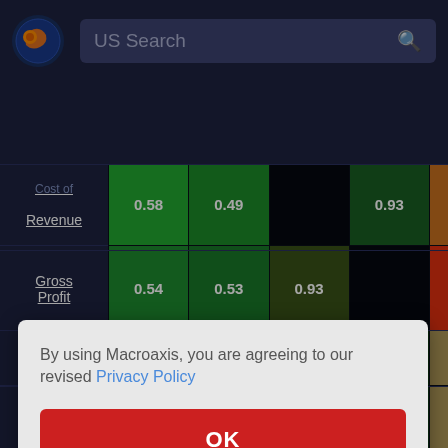[Figure (screenshot): Macroaxis website header with orange-blue globe logo and 'US Search' search bar on dark navy background]
[Figure (table-as-image): Financial heatmap showing rows: Cost of Revenue (0.58, 0.49, [black], 0.93), Gross Profit (0.54, 0.53, 0.93, [black/orange]), Interest (0.02, -0.27, -0.09, -0.34), and partial rows below with values 53 visible]
By using Macroaxis, you are agreeing to our revised Privacy Policy
OK